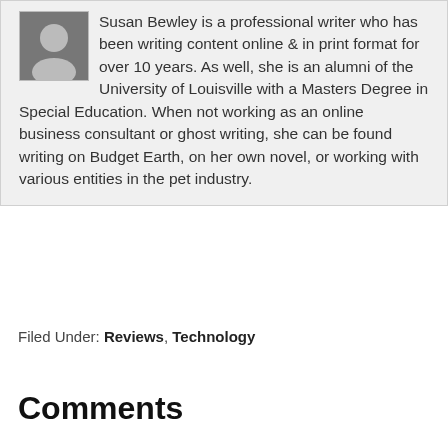Susan Bewley is a professional writer who has been writing content online & in print format for over 10 years. As well, she is an alumni of the University of Louisville with a Masters Degree in Special Education. When not working as an online business consultant or ghost writing, she can be found writing on Budget Earth, on her own novel, or working with various entities in the pet industry.
[Figure (infographic): Social sharing buttons: Facebook (blue), Twitter (light blue), Pinterest (red), LinkedIn (teal), More/Share (blue)]
Filed Under: Reviews, Technology
Comments